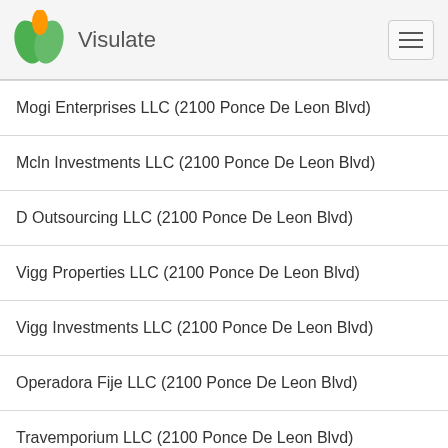Visulate
Mogi Enterprises LLC (2100 Ponce De Leon Blvd)
Mcln Investments LLC (2100 Ponce De Leon Blvd)
D Outsourcing LLC (2100 Ponce De Leon Blvd)
Vigg Properties LLC (2100 Ponce De Leon Blvd)
Vigg Investments LLC (2100 Ponce De Leon Blvd)
Operadora Fije LLC (2100 Ponce De Leon Blvd)
Travemporium LLC (2100 Ponce De Leon Blvd)
Mijani LLC (2100 Ponce De Leon Blvd)
Escaro LLC (2100 Ponce De Leon Blvd)